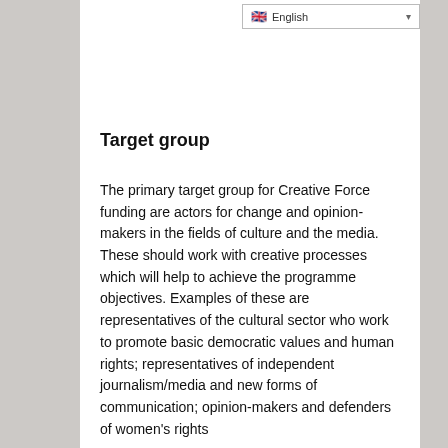English
Target group
The primary target group for Creative Force funding are actors for change and opinion-makers in the fields of culture and the media. These should work with creative processes which will help to achieve the programme objectives. Examples of these are representatives of the cultural sector who work to promote basic democratic values and human rights; representatives of independent journalism/media and new forms of communication; opinion-makers and defenders of women's rights…